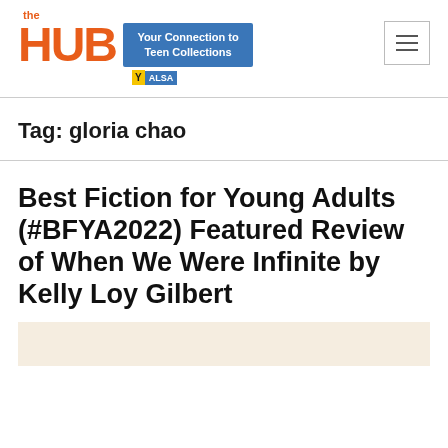[Figure (logo): The HUB logo with orange bold text 'the HUB', blue box with text 'Your Connection to Teen Collections', and YALSA badge below]
[Figure (other): Hamburger menu button (three horizontal lines) in a bordered box]
Tag: gloria chao
Best Fiction for Young Adults (#BFYA2022) Featured Review of When We Were Infinite by Kelly Loy Gilbert
[Figure (photo): Partial image with cream/tan background visible at bottom of page]